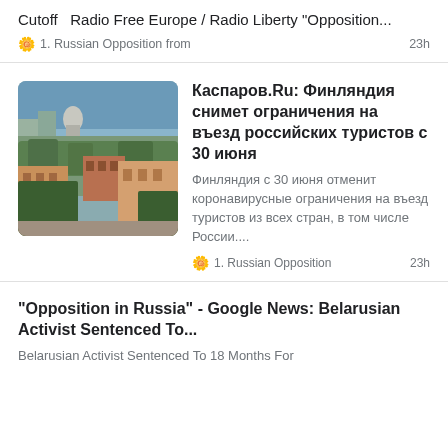Cutoff  Radio Free Europe / Radio Liberty "Opposition...
1. Russian Opposition from   23h
[Figure (photo): Aerial cityscape photo showing Helsinki cathedral and harbor area with buildings and trees]
Каспаров.Ru: Финляндия снимет ограничения на въезд российских туристов с 30 июня
Финляндия с 30 июня отменит коронавирусные ограничения на въезд туристов из всех стран, в том числе России....
1. Russian Opposition   23h
"Opposition in Russia" - Google News: Belarusian Activist Sentenced To...
Belarusian Activist Sentenced To 18 Months For